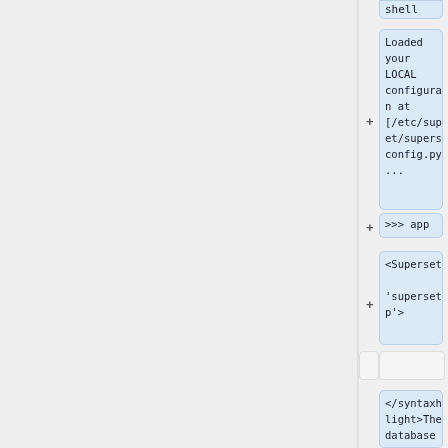[Figure (screenshot): A documentation or tutorial page showing Python/shell code snippets in light-blue highlighted boxes. Visible snippets include: 'shell', 'Loaded your LOCAL configuration at [/etc/superset/superset_config.py] ...', '>>> app', '<SupersetApp \'superset.app\'>', and '</syntaxhighlight>The database'. Plus signs appear to the left of some boxes. The left portion of the page is a gray sidebar. Bottom area shows partial white boxes.]